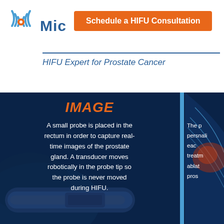[Figure (logo): HIFU medical brand logo with concentric circles/waves and orange dot center, with partial brand name 'Mic' visible and blue text]
Schedule a HIFU Consultation
HIFU Expert for Prostate Cancer
[Figure (infographic): Dark blue background infographic panel showing HIFU probe device image at bottom with medical illustration of prostate anatomy on right side. Left panel has orange bold italic 'IMAGE' heading and white body text about probe placement. A vertical blue divider separates left and right panels. Right panel shows partial text about personalized treatment and ablation of prostate.]
IMAGE
A small probe is placed in the rectum in order to capture real-time images of the prostate gland. A transducer moves robotically in the probe tip so the probe is never moved during HIFU.